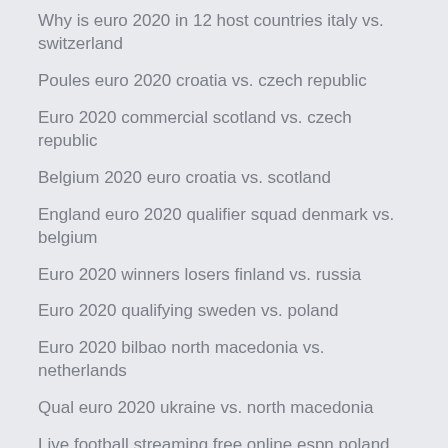Why is euro 2020 in 12 host countries italy vs. switzerland
Poules euro 2020 croatia vs. czech republic
Euro 2020 commercial scotland vs. czech republic
Belgium 2020 euro croatia vs. scotland
England euro 2020 qualifier squad denmark vs. belgium
Euro 2020 winners losers finland vs. russia
Euro 2020 qualifying sweden vs. poland
Euro 2020 bilbao north macedonia vs. netherlands
Qual euro 2020 ukraine vs. north macedonia
Live football streaming free online espn poland vs. slovakia